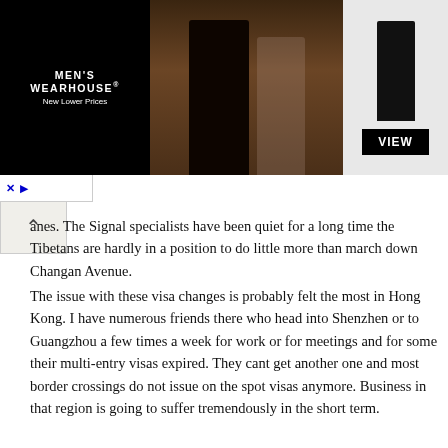[Figure (photo): Men's Wearhouse advertisement banner showing a couple in formal wear and a man in a tuxedo on the right, with a VIEW button. Black background on left with logo and 'New Lower Prices' tagline.]
anes. The Signal specialists have been quiet for a long time the Tibetans are hardly in a position to do little more than march down Changan Avenue.
The issue with these visa changes is probably felt the most in Hong Kong. I have numerous friends there who head into Shenzhen or to Guangzhou a few times a week for work or for meetings and for some their multi-entry visas expired. They cant get another one and most border crossings do not issue on the spot visas anymore. Business in that region is going to suffer tremendously in the short term.
I appreciate that China wants to keep tabs on visitors and promote a safe environment - however this is not the way to do it.
The Russians streamlined their visa system for the recent UEFA cup match - uif you had a ticket you got a temporary visa upon arrival. The Chinese could have put this in place and shown a far